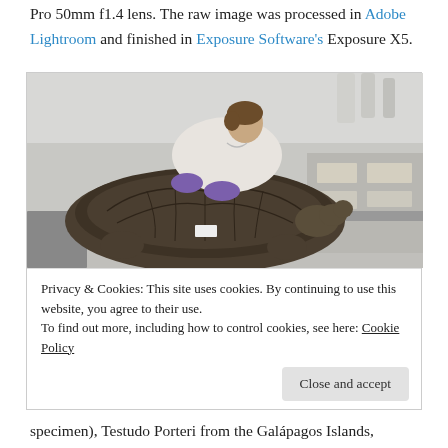Pro 50mm f1.4 lens. The raw image was processed in Adobe Lightroom and finished in Exposure Software's Exposure X5.
[Figure (photo): A woman wearing a white lab coat and purple gloves leans over a large Galápagos tortoise in a laboratory or museum storage setting. Steel shelving and equipment visible in background.]
Privacy & Cookies: This site uses cookies. By continuing to use this website, you agree to their use.
To find out more, including how to control cookies, see here: Cookie Policy
specimen), Testudo Porteri from the Galápagos Islands,